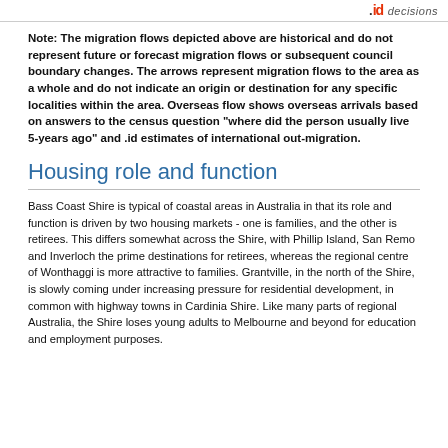.id decisions
Note: The migration flows depicted above are historical and do not represent future or forecast migration flows or subsequent council boundary changes. The arrows represent migration flows to the area as a whole and do not indicate an origin or destination for any specific localities within the area. Overseas flow shows overseas arrivals based on answers to the census question "where did the person usually live 5-years ago" and .id estimates of international out-migration.
Housing role and function
Bass Coast Shire is typical of coastal areas in Australia in that its role and function is driven by two housing markets - one is families, and the other is retirees. This differs somewhat across the Shire, with Phillip Island, San Remo and Inverloch the prime destinations for retirees, whereas the regional centre of Wonthaggi is more attractive to families. Grantville, in the north of the Shire, is slowly coming under increasing pressure for residential development, in common with highway towns in Cardinia Shire. Like many parts of regional Australia, the Shire loses young adults to Melbourne and beyond for education and employment purposes.